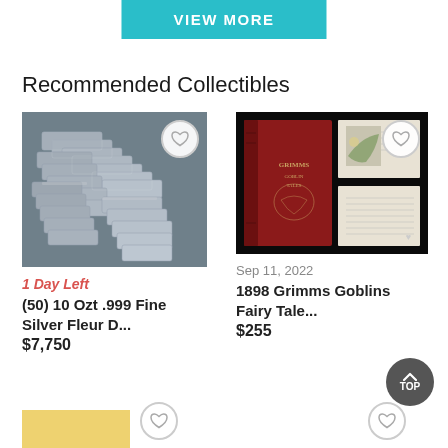[Figure (other): VIEW MORE teal/cyan button at the top of the page]
Recommended Collectibles
[Figure (photo): Stack of silver bars (50) 10 Ozt .999 Fine Silver Fleur De Lis, with heart/favorite button overlay]
1 Day Left
(50) 10 Ozt .999 Fine Silver Fleur D...
$7,750
[Figure (photo): 1898 Grimms Goblins Fairy Tale book with red cover shown alongside open pages, with heart/favorite button overlay]
Sep 11, 2022
1898 Grimms Goblins Fairy Tale...
$255